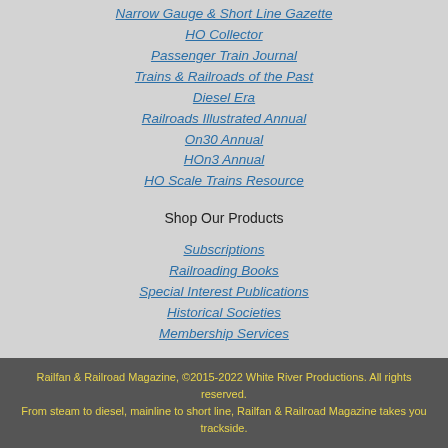Narrow Gauge & Short Line Gazette
HO Collector
Passenger Train Journal
Trains & Railroads of the Past
Diesel Era
Railroads Illustrated Annual
On30 Annual
HOn3 Annual
HO Scale Trains Resource
Shop Our Products
Subscriptions
Railroading Books
Special Interest Publications
Historical Societies
Membership Services
Railfan & Railroad Magazine, ©2015-2022 White River Productions. All rights reserved.
From steam to diesel, mainline to short line, Railfan & Railroad Magazine takes you trackside.